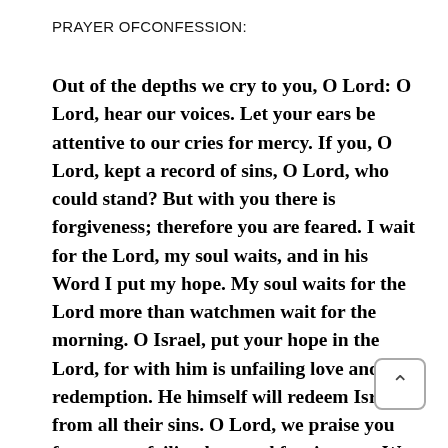PRAYER OFCONFESSION:
Out of the depths we cry to you, O Lord: O Lord, hear our voices. Let your ears be attentive to our cries for mercy. If you, O Lord, kept a record of sins, O Lord, who could stand? But with you there is forgiveness; therefore you are feared. I wait for the Lord, my soul waits, and in his Word I put my hope. My soul waits for the Lord more than watchmen wait for the morning. O Israel, put your hope in the Lord, for with him is unfailing love and full redemption. He himself will redeem Israel from all their sins. O Lord, we praise you for your unfailing love and forgiveness. We put our hope fully in you